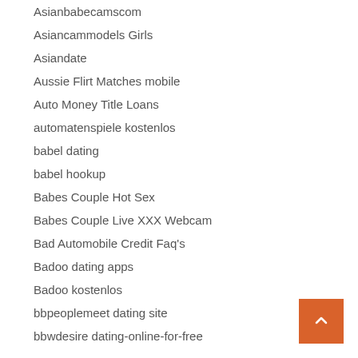Asianbabecamscom
Asiancammodels Girls
Asiandate
Aussie Flirt Matches mobile
Auto Money Title Loans
automatenspiele kostenlos
babel dating
babel hookup
Babes Couple Hot Sex
Babes Couple Live XXX Webcam
Bad Automobile Credit Faq's
Badoo dating apps
Badoo kostenlos
bbpeoplemeet dating site
bbwdesire dating-online-for-free